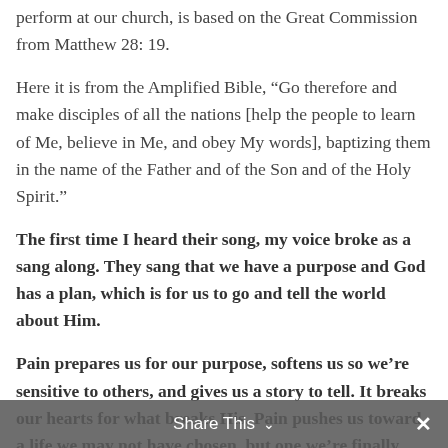perform at our church, is based on the Great Commission from Matthew 28: 19.
Here it is from the Amplified Bible, “Go therefore and make disciples of all the nations [help the people to learn of Me, believe in Me, and obey My words], baptizing them in the name of the Father and of the Son and of the Holy Spirit.”
The first time I heard their song, my voice broke as a sang along. They sang that we have a purpose and God has a plan, which is for us to go and tell the world about Him.
Pain prepares us for our purpose, softens us so we’re sensitive to others, and gives us a story to tell. It breaks our hearts for what breaks His. Pain pushes us toward a life we may not have chosen, but one we’re finally happy to be living … because of Him and for Him.
Share This